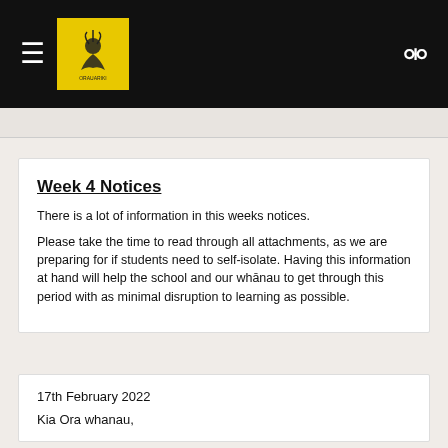Navigation bar with hamburger menu, school logo, and search icon
Week 4 Notices
There is a lot of information in this weeks notices.
Please take the time to read through all attachments, as we are preparing for if students need to self-isolate. Having this information at hand will help the school and our whānau to get through this period with as minimal disruption to learning as possible.
17th February 2022
Kia Ora whanau,